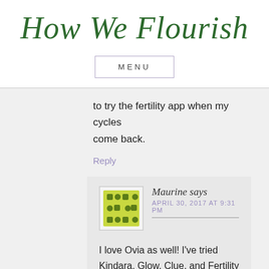How We Flourish
MENU
to try the fertility app when my cycles come back.
Reply
Maurine says
APRIL 30, 2017 AT 9:31 PM
I love Ovia as well! I've tried Kindara, Glow, Clue, and Fertility